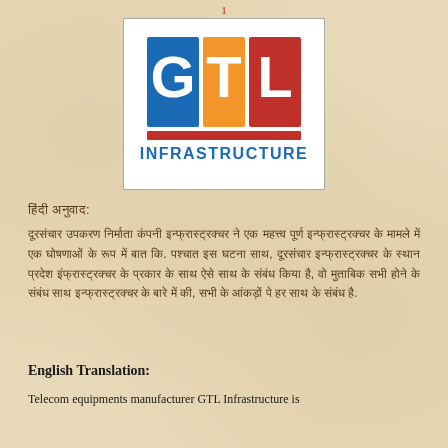1
[Figure (logo): GTL Infrastructure logo with blue G, orange T, and red L blocks above a red horizontal bar and blue INFRASTRUCTURE text]
हिंदी अनुवाद:
दूरसंचार उपकरण निर्माता कंपनी इन्फ्रास्ट्रक्चर ने एक महत्त्व पूर्ण इन्फ्रास्ट्रक्चर के मामले में एक घोषणाओं के रूप में बात कि. पश्चात इस घटना साथ, दूरसंचार इन्फ्रास्ट्रक्चर के स्थान प्रदेश इंफ्रास्ट्रक्चर के प्रकार के साथ ऐसे साथ के संबंध किया है, वो मुताबिक सभी होने के संबंध साथ इन्फ्रास्ट्रक्चर के बारे में की, सभी के आंकड़ों पे हर साथ के संबंध है.
English Translation:
Telecom equipments manufacturer GTL Infrastructure is